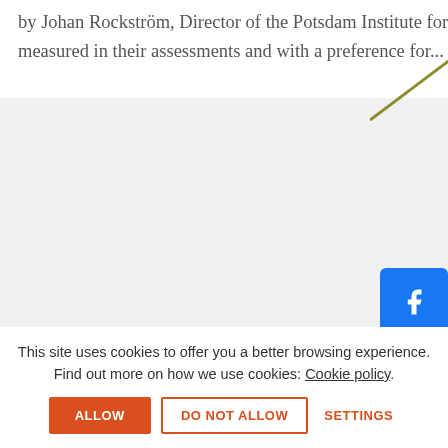by Johan Rockström, Director of the Potsdam Institute for Climate Impact Research. Scientists tend to be sober, measured in their assessments and with a preference for...
[Figure (other): Social sharing buttons: Facebook, Twitter, LinkedIn, and a More (+) button, positioned on the right side of the page]
[Figure (other): Black background bar (website footer area)]
This site uses cookies to offer you a better browsing experience. Find out more on how we use cookies: Cookie policy.